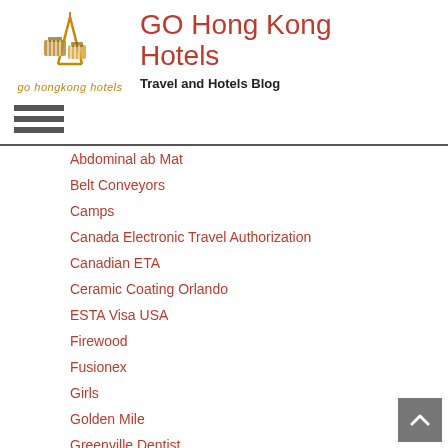[Figure (logo): Go Hong Kong Hotels logo with luggage/tower icon and italic text 'go hongkong hotels']
GO Hong Kong Hotels
Travel and Hotels Blog
Abdominal ab Mat
Belt Conveyors
Camps
Canada Electronic Travel Authorization
Canadian ETA
Ceramic Coating Orlando
ESTA Visa USA
Firewood
Fusionex
Girls
Golden Mile
Greenville Dentist
Hyatt Regency
Insurance Software